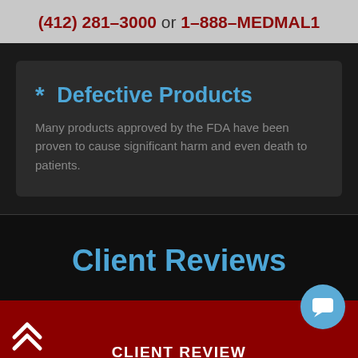(412) 281–3000 or 1–888–MEDMAL1
* Defective Products
Many products approved by the FDA have been proven to cause significant harm and even death to patients.
Client Reviews
CLIENT REVIEW